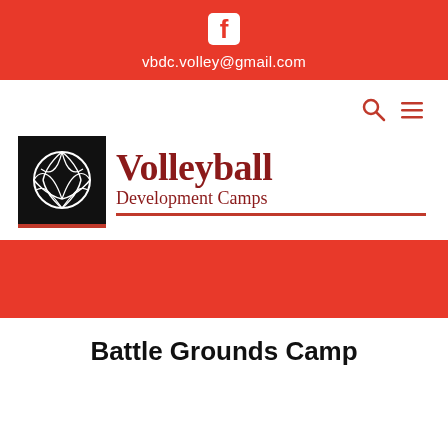vbdc.volley@gmail.com
[Figure (logo): Volleyball Development Camps logo with volleyball icon on black background and text 'Volleyball Development Camps' in dark red serif font]
Battle Grounds Camp